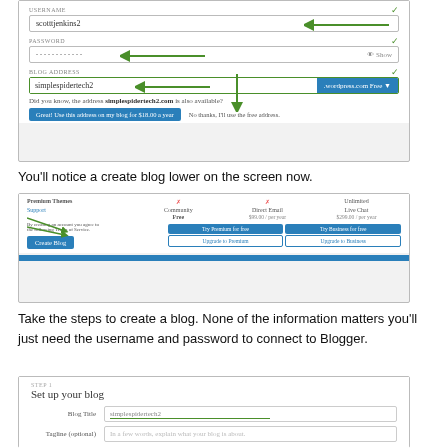[Figure (screenshot): WordPress account creation form showing USERNAME field with 'scotttjenkins2' and a green arrow pointing to it, PASSWORD field with dots and a green arrow, and BLOG ADDRESS field with 'simplespidertech2' and '.wordpress.com Free' dropdown. A green vertical arrow points down to 'No thanks, I'll use the free address.' option.]
You'll notice a create blog lower on the screen now.
[Figure (screenshot): WordPress plan selection screen showing Premium Themes row, Support options (Community, Direct Email, Live Chat), pricing for Free, $99.00/per year, $299.00/per year plans, with a 'Create Blog' button in blue and upgrade options. Two green arrows point to the free column.]
Take the steps to create a blog. None of the information matters you'll just need the username and password to connect to Blogger.
[Figure (screenshot): WordPress 'Set up your blog' screen showing Blog Title field with 'simplespidertech2' and a green underline, and Tagline (optional) field with placeholder text 'In a few words, explain what your blog is about.']